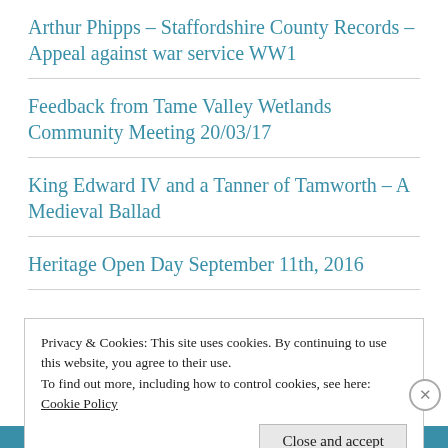Arthur Phipps – Staffordshire County Records – Appeal against war service WW1
Feedback from Tame Valley Wetlands Community Meeting 20/03/17
King Edward IV and a Tanner of Tamworth – A Medieval Ballad
Heritage Open Day September 11th, 2016
Privacy & Cookies: This site uses cookies. By continuing to use this website, you agree to their use.
To find out more, including how to control cookies, see here:
Cookie Policy
Close and accept